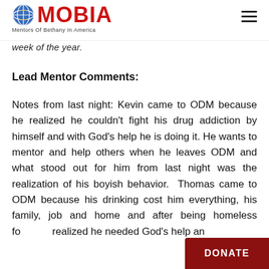MOBIA – Mentors Of Bethany In America
week of the year.
Lead Mentor Comments:
Notes from last night: Kevin came to ODM because he realized he couldn't fight his drug addiction by himself and with God's help he is doing it. He wants to mentor and help others when he leaves ODM and what stood out for him from last night was the realization of his boyish behavior.  Thomas came to ODM because his drinking cost him everything, his family, job and home and after being homeless for         realized he needed God's help an